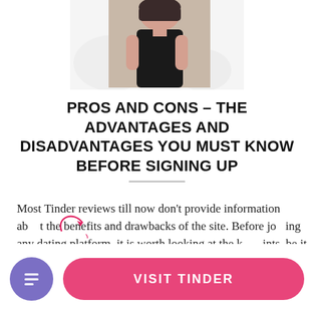[Figure (photo): Partial photo of a woman in a black dress, cropped at top of page]
PROS AND CONS – THE ADVANTAGES AND DISADVANTAGES YOU MUST KNOW BEFORE SIGNING UP
Most Tinder reviews till now don't provide information about the benefits and drawbacks of the site. Before joining any dating platform, it is worth looking at the key points, be it the pros or cons. It makes you aware of what you can expect from the site and what you can't.
[Figure (other): Annotation overlay with red curved arrow and '29%' text label]
VISIT TINDER